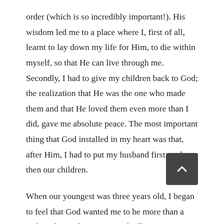order (which is so incredibly important!). His wisdom led me to a place where I, first of all, learnt to lay down my life for Him, to die within myself, so that He can live through me. Secondly, I had to give my children back to God; the realization that He was the one who made them and that He loved them even more than I did, gave me absolute peace. The most important thing that God installed in my heart was that, after Him, I had to put my husband first, and then our children.
When our youngest was three years old, I began to feel that God wanted me to be more than a wife and a mother. He started talking to me about my talents and I